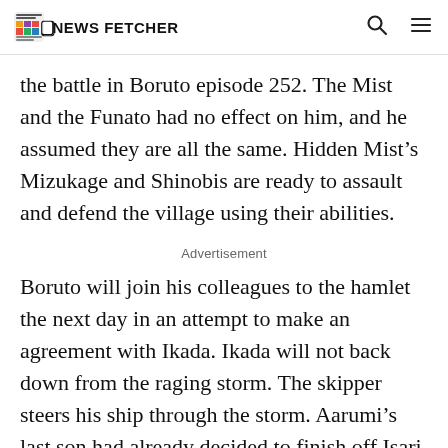THE NEWS FETCHER
the battle in Boruto episode 252. The Mist and the Funato had no effect on him, and he assumed they are all the same. Hidden Mist's Mizukage and Shinobis are ready to assault and defend the village using their abilities.
Advertisement
Boruto will join his colleagues to the hamlet the next day in an attempt to make an agreement with Ikada. Ikada will not back down from the raging storm. The skipper steers his ship through the storm. Aarumi's last son had already decided to finish off Isari, and he did so.